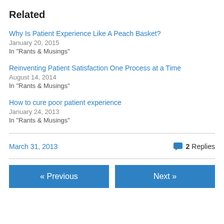Related
Why Is Patient Experience Like A Peach Basket?
January 20, 2015
In "Rants & Musings"
Reinventing Patient Satisfaction One Process at a Time
August 14, 2014
In "Rants & Musings"
How to cure poor patient experience
January 24, 2013
In "Rants & Musings"
March 31, 2013   2 Replies
« Previous   Next »